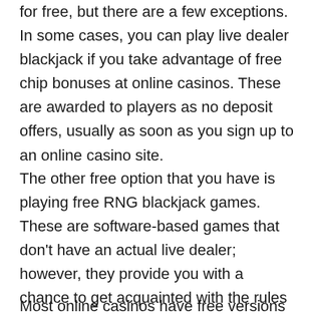for free, but there are a few exceptions. In some cases, you can play live dealer blackjack if you take advantage of free chip bonuses at online casinos. These are awarded to players as no deposit offers, usually as soon as you sign up to an online casino site.
The other free option that you have is playing free RNG blackjack games. These are software-based games that don't have an actual live dealer; however, they provide you with a chance to get acquainted with the rules of blackjack before you decide to play for real-money prizes.
Most online casinos have free versions of their